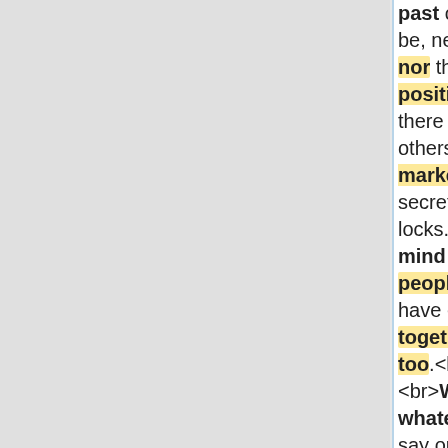past owners to be, neither you nor they may be positive that there aren't others on the market with secrets to those locks. Keep in mind that other people probably have existed together, way too.<br><br><br>Watch whatever you say on social media marketing. From the time of continuous Facebook and twitter upgrades, it is possible to
actually grow to be way too lax on what you share. Regardless how fired up you happen to be about your forthcoming getaway, social websites is not the place to transmit your holiday. It can be also easier for somebody who is just not a pal to find out of your strategies, letting them burglary after they know you are aside.<br>